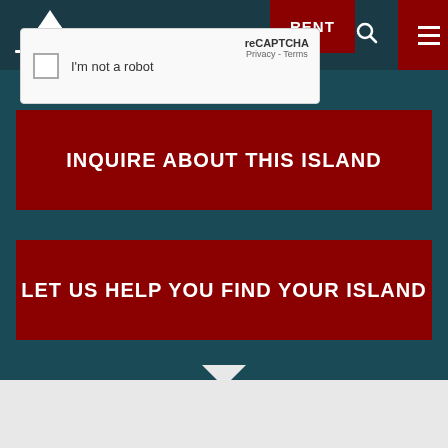SALE  RENT
[Figure (screenshot): reCAPTCHA widget with checkbox labeled 'I'm not a robot' and reCAPTCHA branding with Privacy and Terms links]
INQUIRE ABOUT THIS ISLAND
LET US HELP YOU FIND YOUR ISLAND